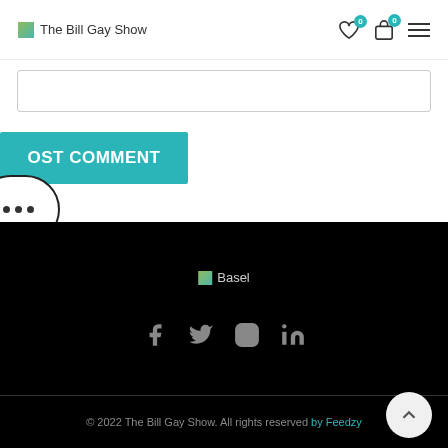The Bill Gay Show
[Figure (screenshot): Input text box for comment]
[Figure (screenshot): POST COMMENT button in teal/cyan color]
[Figure (screenshot): Ellipsis bubble with three dots]
[Figure (logo): Basel logo in footer]
[Figure (infographic): Social media icons: Facebook, Twitter, Instagram, LinkedIn]
© 2022 The Bill Gay Show. All rights reserved by Feedzy